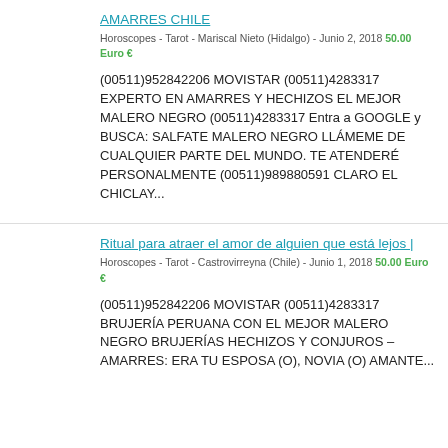AMARRES CHILE
Horoscopes - Tarot - Mariscal Nieto (Hidalgo) - Junio 2, 2018 50.00 Euro €
(00511)952842206 MOVISTAR (00511)4283317 EXPERTO EN AMARRES Y HECHIZOS EL MEJOR MALERO NEGRO (00511)4283317 Entra a GOOGLE y BUSCA: SALFATE MALERO NEGRO LLÁMEME DE CUALQUIER PARTE DEL MUNDO. TE ATENDERÉ PERSONALMENTE (00511)989880591 CLARO EL CHICLAY...
Ritual para atraer el amor de alguien que está lejos |
Horoscopes - Tarot - Castrovirreyna (Chile) - Junio 1, 2018 50.00 Euro €
(00511)952842206 MOVISTAR (00511)4283317 BRUJERÍA PERUANA CON EL MEJOR MALERO NEGRO BRUJERÍAS HECHIZOS Y CONJUROS –AMARRES: ERA TU ESPOSA (O), NOVIA (O) AMANTE...